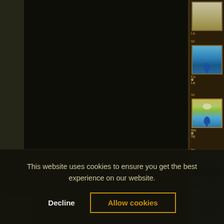[Figure (screenshot): Screenshot of a Magic: The Gathering card database website showing card thumbnails on the right side panel with Island cards, and a large dark card display area on the left. A cookie consent dialog overlays the bottom portion.]
This website uses cookies to ensure you get the best experience on our website.
Decline
Allow cookies